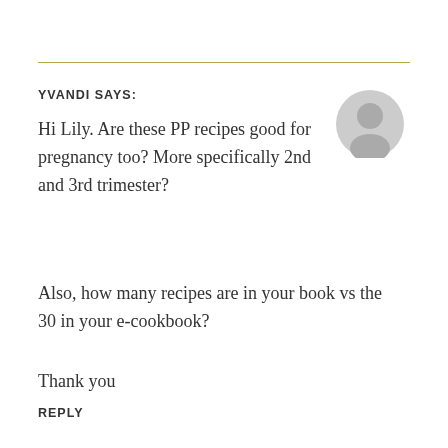YVANDI SAYS:
Hi Lily. Are these PP recipes good for pregnancy too? More specifically 2nd and 3rd trimester?
Also, how many recipes are in your book vs the 30 in your e‑cookbook?
Thank you
REPLY